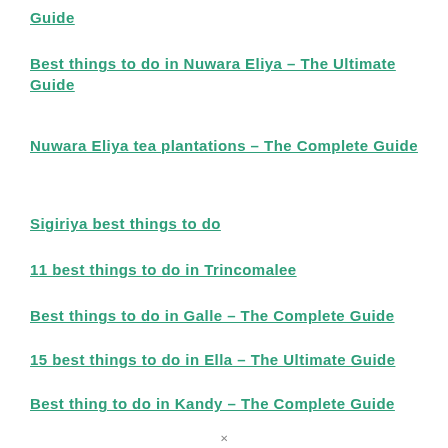Guide
Best things to do in Nuwara Eliya – The Ultimate Guide
Nuwara Eliya tea plantations – The Complete Guide
Sigiriya best things to do
11 best things to do in Trincomalee
Best things to do in Galle – The Complete Guide
15 best things to do in Ella – The Ultimate Guide
Best thing to do in Kandy – The Complete Guide
✕